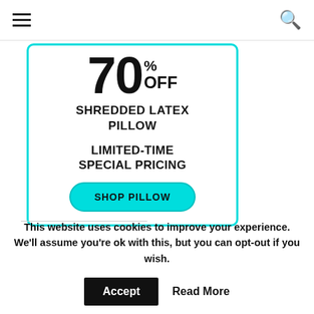≡  🔍
[Figure (infographic): Advertisement banner with cyan border showing '70% OFF SHREDDED LATEX PILLOW LIMITED-TIME SPECIAL PRICING' with a 'SHOP PILLOW' button]
This website uses cookies to improve your experience. We'll assume you're ok with this, but you can opt-out if you wish.
Accept   Read More